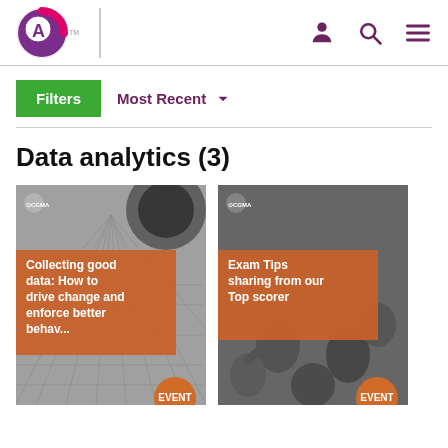[Figure (screenshot): Website header with CGMA/CIMA logo on the left, vertical divider, and three icons (person, search, hamburger menu) in purple on the right]
Filters
Most Recent ∨
Data analytics (3)
[Figure (photo): Card image: abstract geometric grid floor photo with orange overlay text 'Collecting good data: How to drive change and enforce better behaviours' and EVENT badge]
[Figure (photo): Card image: overhead photo of people in a meeting with orange overlay text 'Exam Tips sharing from our Top scorer' and EVENT badge]